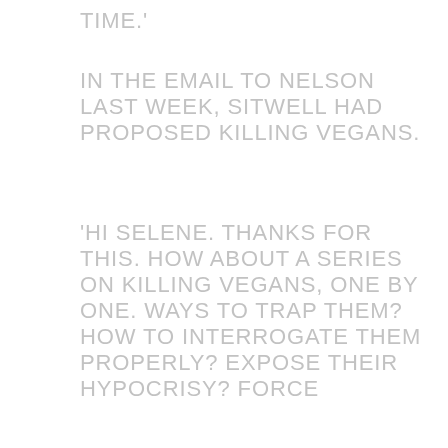TIME.'
In the email to Nelson last week, Sitwell had proposed killing vegans.
'Hi Selene. Thanks for this. How about a series on killing vegans, one by one. Ways to trap them? How to interrogate them properly? Expose their hypocrisy? Force...